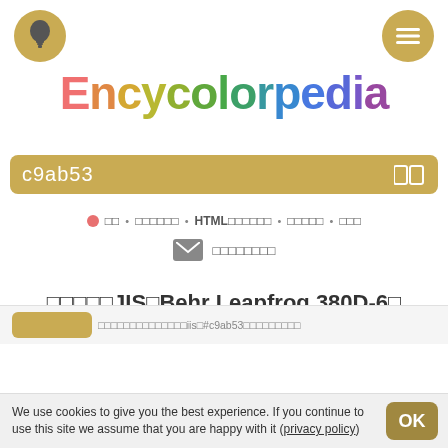[Figure (logo): Encycolorpedia colorful logo with each letter in a different color plus navigation icon circles]
c9ab53
□□ • □□□□□□ • HTML□□□□□□ • □□□□□ • □□□
□□□□□□□□
□□□□□JIS□Behr Leapfrog 380D-6□
#c9ab53□□□□□□□□□
□□□□□□□□□□□□□□iis□#c9ab53□□□□□□□□□
We use cookies to give you the best experience. If you continue to use this site we assume that you are happy with it (privacy policy)